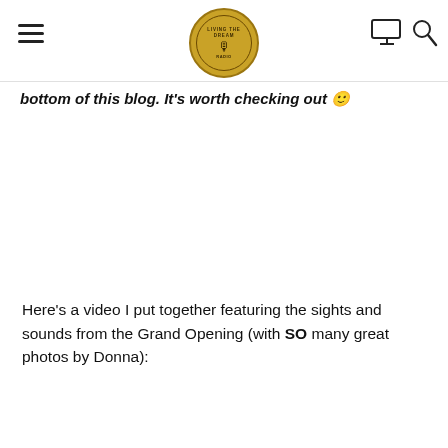[Navigation header with hamburger menu, circular logo, monitor icon, and search icon]
bottom of this blog. It's worth checking out 🙂
Here's a video I put together featuring the sights and sounds from the Grand Opening (with SO many great photos by Donna):